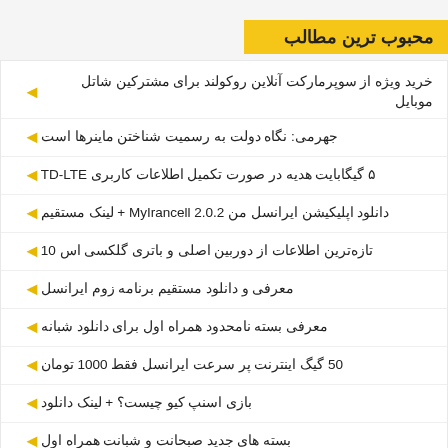محبوب ترین مطالب
خرید ویژه از سوپرمارکت آنلاین روکولند برای مشترکین شاتل موبایل
جهرمی: نگاه دولت به رسمیت شناختن ماینرها است
۵ گیگابایت هدیه در صورت تکمیل اطلاعات کاربری TD-LTE
دانلود اپلیکیشن ایرانسل من MyIrancell 2.0.2 + لینک مستقیم
تازه‌ترین اطلاعات از دوربین اصلی و باتری گلکسی اس 10
معرفی و دانلود مستقیم برنامه زوم ایرانسل
معرفی بسته نامحدود همراه اول برای دانلود شبانه
50 گیگ اینترنت پر سرعت ایرانسل فقط 1000 تومان
بازی اسنپ کیو چیست؟ + لینک دانلود
بسته های جدید صبحانت و شبانت همراه اول
پیوندهای دیگر